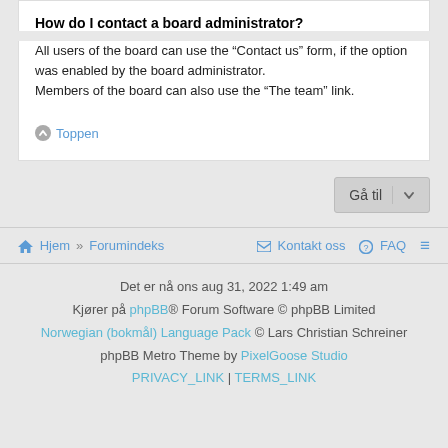How do I contact a board administrator?
All users of the board can use the “Contact us” form, if the option was enabled by the board administrator.
Members of the board can also use the “The team” link.
Toppen
Gå til
Hjem » Forumindeks   Kontakt oss   FAQ   ≡
Det er nå ons aug 31, 2022 1:49 am
Kjører på phpBB® Forum Software © phpBB Limited
Norwegian (bokmål) Language Pack © Lars Christian Schreiner
phpBB Metro Theme by PixelGoose Studio
PRIVACY_LINK | TERMS_LINK